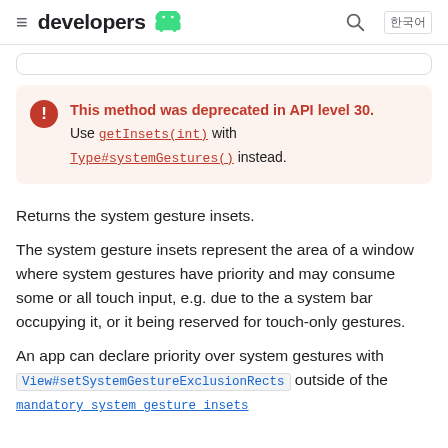developers [android logo]
This method was deprecated in API level 30. Use getInsets(int) with Type#systemGestures() instead.
Returns the system gesture insets.
The system gesture insets represent the area of a window where system gestures have priority and may consume some or all touch input, e.g. due to the a system bar occupying it, or it being reserved for touch-only gestures.
An app can declare priority over system gestures with View#setSystemGestureExclusionRects outside of the mandatory system gesture insets